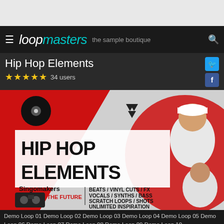Loopmasters — the sample boutique
Hip Hop Elements
★★★★★ 34 users
[Figure (photo): Hip Hop Elements product banner by Singomakers. Red and black/white design featuring a hip hop artist in white cap, vinyl records, and boombox. Text reads: HIP HOP ELEMENTS, Singomakers WE MAKE THE FUTURE, BEATS / VINYL CUTS / FX, VOCALS / SYNTHS / BASS, SCRATCH LOOPS / SHOTS, UNLIMITED INSPIRATION]
Demo Loop 01 Demo Loop 02 Demo Loop 03 Demo Loop 04 Demo Loop 05 Demo Loop 06 Demo Loop 07 Demo Loop 08 Demo Loop 09 Demo Loop 10
Genre: Hip Hop